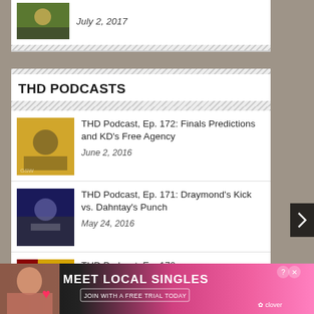[Figure (photo): Top partial article card with sports photo and date July 2, 2017]
July 2, 2017
THD PODCASTS
[Figure (photo): Basketball players in yellow jerseys, thumbnail for podcast episode 172]
THD Podcast, Ep. 172: Finals Predictions and KD's Free Agency
June 2, 2016
[Figure (photo): Basketball player being interviewed, thumbnail for podcast episode 171]
THD Podcast, Ep. 171: Draymond's Kick vs. Dahntay's Punch
May 24, 2016
[Figure (photo): Partial thumbnail for podcast episode 170 with red and yellow branding]
THD Podcast, Ep. 170:
[Figure (photo): Advertisement banner: Meet Local Singles - Join with a free trial today - Clover app]